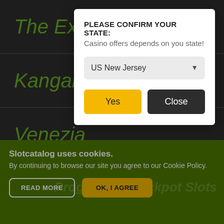The Exp
Kangaro
Venezia
Inca Gold II
Slotcatalog uses cookies. By continuing to browse our site you agree to our Cookie Policy.
Progressive Jackpot Slots
[Figure (screenshot): Modal dialog: PLEASE CONFIRM YOUR STATE: Casino offers depends on you state! Dropdown showing US New Jersey. Yes button (yellow) and Close button (dark).]
READ MORE
OK, I AGREE